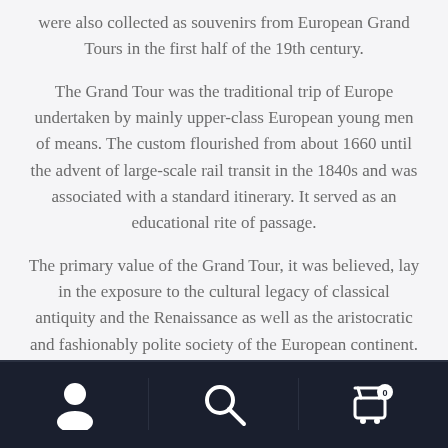were also collected as souvenirs from European Grand Tours in the first half of the 19th century.
The Grand Tour was the traditional trip of Europe undertaken by mainly upper-class European young men of means. The custom flourished from about 1660 until the advent of large-scale rail transit in the 1840s and was associated with a standard itinerary. It served as an educational rite of passage.
The primary value of the Grand Tour, it was believed, lay in the exposure to the cultural legacy of classical antiquity and the Renaissance as well as the aristocratic and fashionably polite society of the European continent.
Navigation bar with user, search, and cart (0) icons